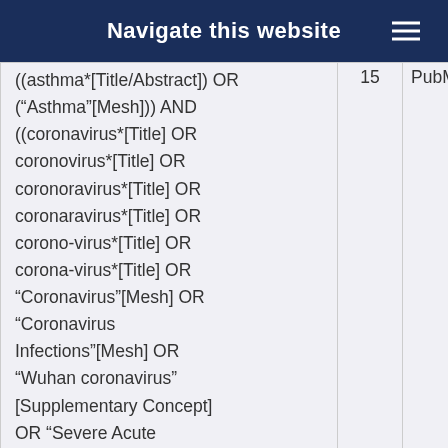Navigate this website
| Search query | Count | Source |
| --- | --- | --- |
| ((asthma*[Title/Abstract]) OR ("Asthma"[Mesh])) AND ((coronavirus*[Title] OR coronovirus*[Title] OR coronoravirus*[Title] OR coronaravirus*[Title] OR corono-virus*[Title] OR corona-virus*[Title] OR "Coronavirus"[Mesh] OR "Coronavirus Infections"[Mesh] OR "Wuhan coronavirus" [Supplementary Concept] OR "Severe Acute Respiratory Syndrome | 15 | PubMed |